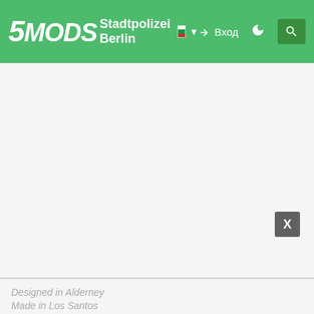5MODS  Stadtpolizei Berlin  Вход
[Figure (screenshot): Large blank/white content area, main page body with no loaded content]
X
Designed in Alderney
Made in Los Santos